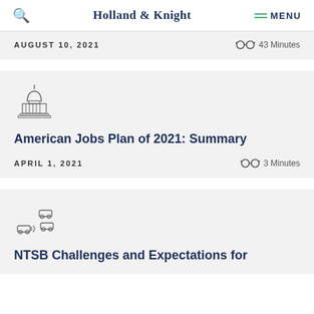Holland & Knight  MENU
AUGUST 10, 2021   43 Minutes
[Figure (illustration): Capitol building outline icon]
American Jobs Plan of 2021: Summary
APRIL 1, 2021   3 Minutes
[Figure (illustration): Connected/autonomous vehicles icon]
NTSB Challenges and Expectations for